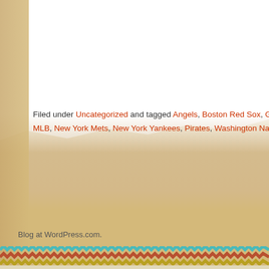Filed under Uncategorized and tagged Angels, Boston Red Sox, Giants, Houston As, MLB, New York Mets, New York Yankees, Pirates, Washington Nationals | Leave a c
Blog at WordPress.com.